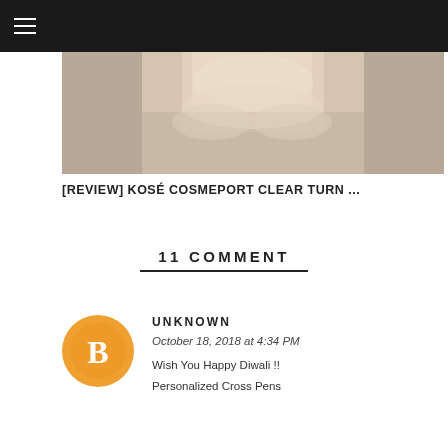≡
[Figure (photo): Close-up photo of a person wearing white ruffled fabric clothing]
[REVIEW] KOSÉ COSMEPORT CLEAR TURN ...
11 COMMENT
UNKNOWN
October 18, 2018 at 4:34 PM
Wish You Happy Diwali !!
Personalized Cross Pens